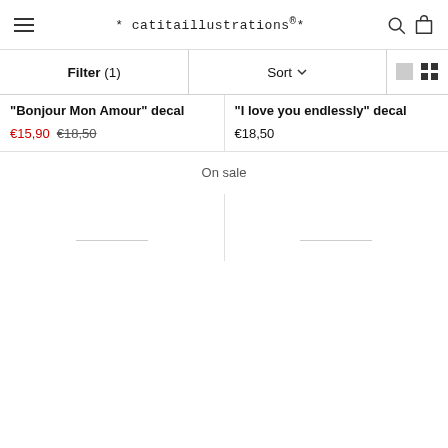* catitaillustrations ®*
Filter (1)   Sort ∨
"Bonjour Mon Amour" decal
€15,90  €18,50
"I love you endlessly" decal
€18,50
On sale